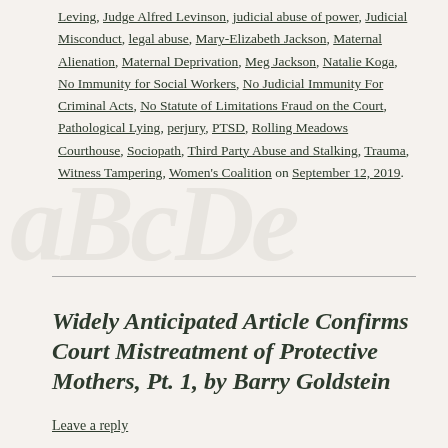Leving, Judge Alfred Levinson, judicial abuse of power, Judicial Misconduct, legal abuse, Mary-Elizabeth Jackson, Maternal Alienation, Maternal Deprivation, Meg Jackson, Natalie Koga, No Immunity for Social Workers, No Judicial Immunity For Criminal Acts, No Statute of Limitations Fraud on the Court, Pathological Lying, perjury, PTSD, Rolling Meadows Courthouse, Sociopath, Third Party Abuse and Stalking, Trauma, Witness Tampering, Women's Coalition on September 12, 2019.
Widely Anticipated Article Confirms Court Mistreatment of Protective Mothers, Pt. 1, by Barry Goldstein
Leave a reply